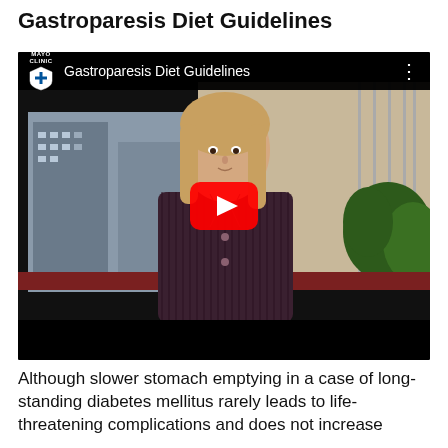Gastroparesis Diet Guidelines
[Figure (screenshot): Mayo Clinic YouTube video thumbnail showing a woman seated in an office with large windows and plants in the background. The video is titled 'Gastroparesis Diet Guidelines' and shows a red YouTube play button in the center.]
Although slower stomach emptying in a case of long-standing diabetes mellitus rarely leads to life-threatening complications and does not increase